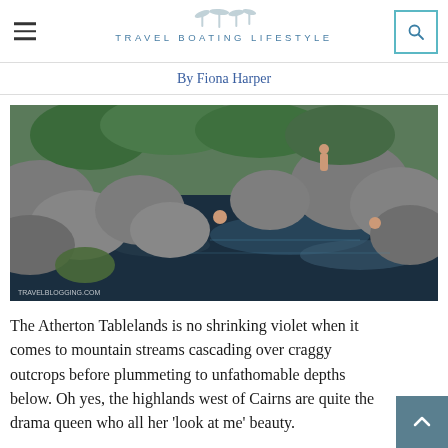TRAVEL BOATING LIFESTYLE — By Fiona Harper
[Figure (photo): People swimming in a natural rock pool with dark blue water, surrounded by large grey boulders and lush green tropical vegetation. A person sits on a high rock above the pool.]
The Atherton Tablelands is no shrinking violet when it comes to mountain streams cascading over craggy outcrops before plummeting to unfathomable depths below. Oh yes, the highlands west of Cairns are quite the drama queen who all her 'look at me' beauty.